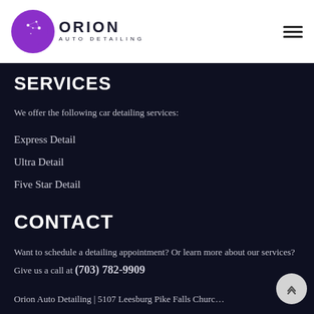[Figure (logo): Orion Auto Detailing logo: purple circle with star dots and text ORION AUTO DETAILING below]
SERVICES
We offer the following car detailing services:
Express Detail
Ultra Detail
Five Star Detail
CONTACT
Want to schedule a detailing appointment? Or learn more about our services? Give us a call at (703) 782-9909
Orion Auto Detailing | 5107 Leesburg Pike Falls Church 22041